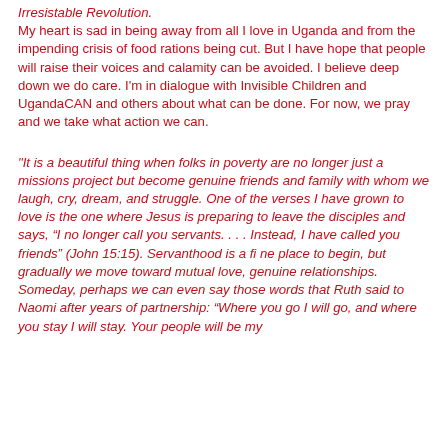Irresistable Revolution. My heart is sad in being away from all I love in Uganda and from the impending crisis of food rations being cut. But I have hope that people will raise their voices and calamity can be avoided. I believe deep down we do care. I'm in dialogue with Invisible Children and UgandaCAN and others about what can be done. For now, we pray and we take what action we can.
"It is a beautiful thing when folks in poverty are no longer just a missions project but become genuine friends and family with whom we laugh, cry, dream, and struggle. One of the verses I have grown to love is the one where Jesus is preparing to leave the disciples and says, “I no longer call you servants. . . . Instead, I have called you friends” (John 15:15). Servanthood is a fi ne place to begin, but gradually we move toward mutual love, genuine relationships. Someday, perhaps we can even say those words that Ruth said to Naomi after years of partnership: “Where you go I will go, and where you stay I will stay. Your people will be my